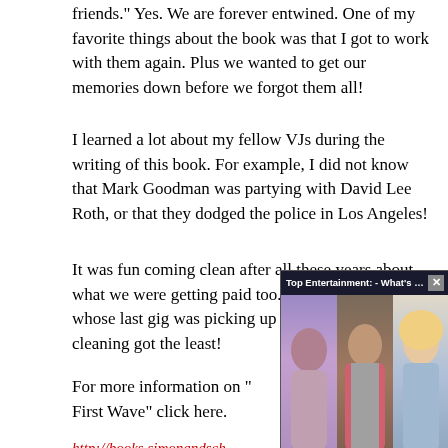friends." Yes. We are forever entwined. One of my favorite things about the book was that I got to work with them again. Plus we wanted to get our memories down before we forgot them all!
I learned a lot about my fellow VJs during the writing of this book. For example, I did not know that Mark Goodman was partying with David Lee Roth, or that they dodged the police in Los Angeles!
It was fun coming clean after all these years about what we were getting paid too. Spoiler alert: the kid whose last gig was picking up Don Imus' dry-cleaning got the least!
For more information on "...First Wave" click here.
http://books.simonandsch...Blackwood/97814516781...
[Figure (screenshot): Ad overlay: 'Top Entertainment: - What's Coming an...' with close button X, showing images of three women]
[Figure (photo): Bottom portion of a New York Times Bestseller book cover showing silhouettes of people]
5) How do you prep yourself for your radio shift